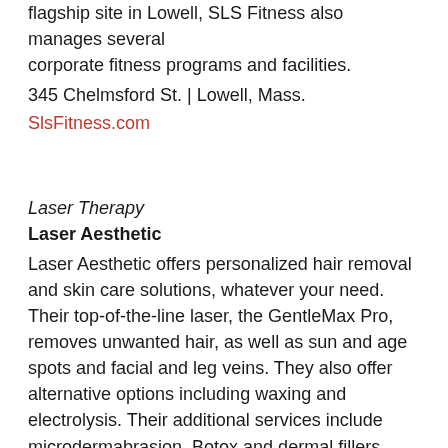flagship site in Lowell, SLS Fitness also manages several corporate fitness programs and facilities.
345 Chelmsford St. | Lowell, Mass.
SlsFitness.com
Laser Therapy
Laser Aesthetic
Laser Aesthetic offers personalized hair removal and skin care solutions, whatever your need. Their top-of-the-line laser, the GentleMax Pro, removes unwanted hair, as well as sun and age spots and facial and leg veins. They also offer alternative options including waxing and electrolysis. Their additional services include microdermabrasion, Botox and dermal fillers, and a variety of facials and chemical peels.
181 Swan St. | Methuen, Mass.
LaserHairMA.com/treatments
Alternative Health & Wellness
Massage Envy